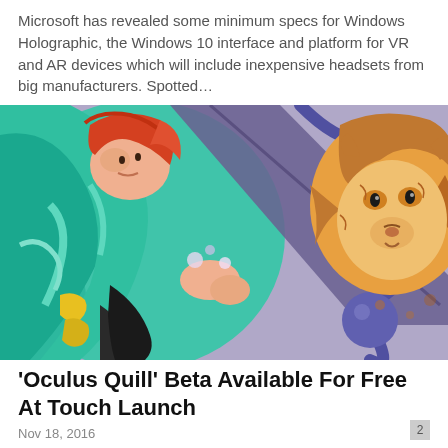Microsoft has revealed some minimum specs for Windows Holographic, the Windows 10 interface and platform for VR and AR devices which will include inexpensive headsets from big manufacturers. Spotted…
[Figure (illustration): Colorful digital illustration showing a woman with red hair wearing a teal suit alongside a lion, with purple diagonal lines across the composition]
'Oculus Quill' Beta Available For Free At Touch Launch
Nov 18, 2016
2